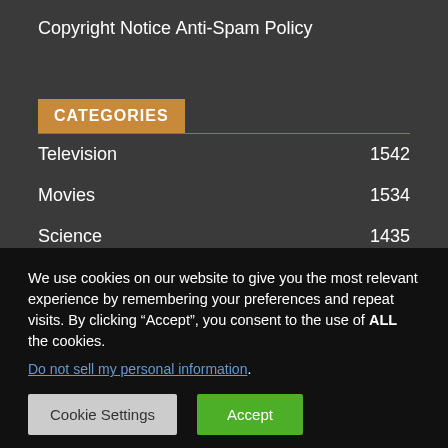Copyright Notice
Anti-Spam Policy
CATEGORIES
Television 1542
Movies 1534
Science 1435
We use cookies on our website to give you the most relevant experience by remembering your preferences and repeat visits. By clicking “Accept”, you consent to the use of ALL the cookies.
Do not sell my personal information.
Cookie Settings  Accept